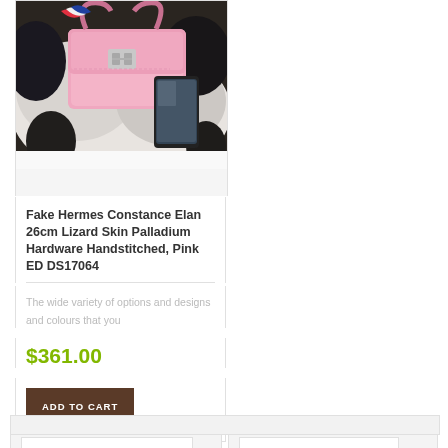[Figure (photo): Pink Hermes Constance Elan 26cm lizard skin handbag with palladium hardware, displayed on a patterned surface next to a smartphone]
Fake Hermes Constance Elan 26cm Lizard Skin Palladium Hardware Handstitched, Pink ED DS17064
The wide variety of options and designs and colours that you
$361.00
ADD TO CART